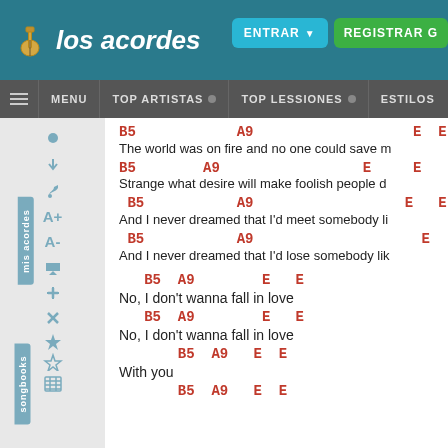los acordes — ENTRAR | REGISTRAR G
MENU | TOP ARTISTAS | TOP LESSIONES | ESTILOS
B5   A9   E  E
The world was on fire and no one could save m
B5   A9   E  E
Strange what desire will make foolish people d
B5   A9   E  E
And I never dreamed that I'd meet somebody li
B5   A9   E  E
And I never dreamed that I'd lose somebody lik
B5  A9   E  E
No, I don't wanna fall in love
B5  A9   E  E
No, I don't wanna fall in love
B5  A9  E  E
With you
B5  A9  E  E